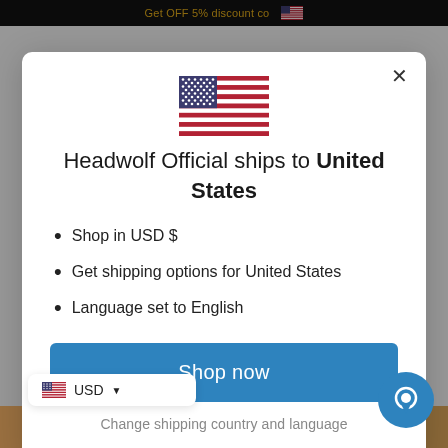Get OFF 5% discount co...
[Figure (illustration): US flag emoji/icon centered in modal]
Headwolf Official ships to United States
Shop in USD $
Get shipping options for United States
Language set to English
Shop now
Change shipping country and language